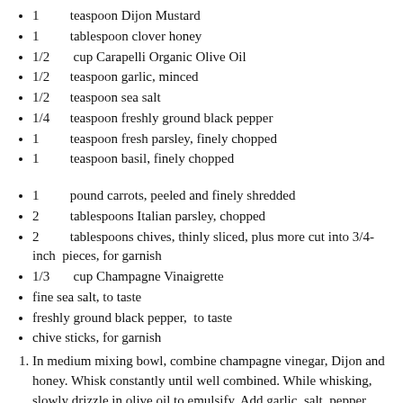1  teaspoon Dijon Mustard
1  tablespoon clover honey
1/2  cup Carapelli Organic Olive Oil
1/2  teaspoon garlic, minced
1/2  teaspoon sea salt
1/4  teaspoon freshly ground black pepper
1  teaspoon fresh parsley, finely chopped
1  teaspoon basil, finely chopped
1  pound carrots, peeled and finely shredded
2  tablespoons Italian parsley, chopped
2  tablespoons chives, thinly sliced, plus more cut into 3/4-inch pieces, for garnish
1/3  cup Champagne Vinaigrette
fine sea salt, to taste
freshly ground black pepper, to taste
chive sticks, for garnish
1. In medium mixing bowl, combine champagne vinegar, Dijon and honey. Whisk constantly until well combined. While whisking, slowly drizzle in olive oil to emulsify. Add garlic, salt, pepper, parsley and basil: whisk to combine.
2. In mixing bowl, toss carrots, parsley and chives. Add dressing...